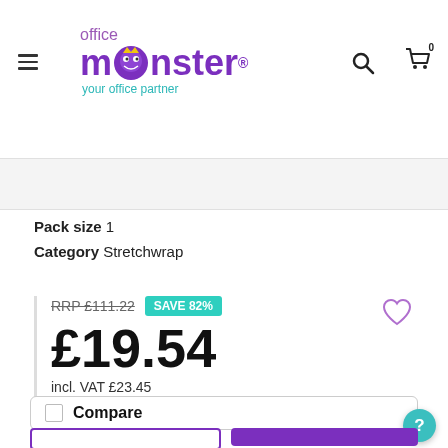Shop by Brand
[Figure (logo): Office Monster logo with purple monster icon and tagline 'your office partner']
Pack size 1
Category Stretchwrap
RRP £111.22  SAVE 82%
£19.54
incl. VAT £23.45
Pack of 1
Compare